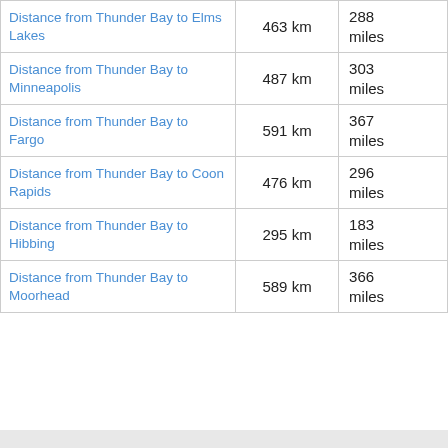| Route | km | miles |
| --- | --- | --- |
| Distance from Thunder Bay to Elms Lakes | 463 km | 288 miles |
| Distance from Thunder Bay to Minneapolis | 487 km | 303 miles |
| Distance from Thunder Bay to Fargo | 591 km | 367 miles |
| Distance from Thunder Bay to Coon Rapids | 476 km | 296 miles |
| Distance from Thunder Bay to Hibbing | 295 km | 183 miles |
| Distance from Thunder Bay to Moorhead | 589 km | 366 miles |